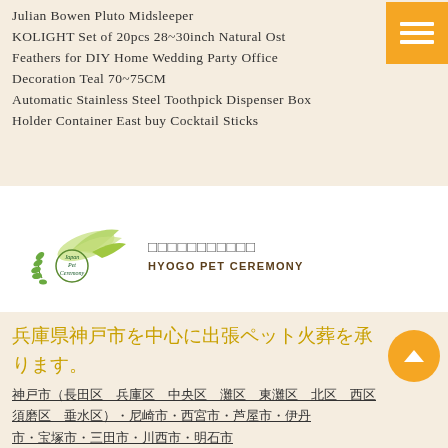Julian Bowen Pluto Midsleeper
KOLIGHT Set of 20pcs 28~30inch Natural Ost Feathers for DIY Home Wedding Party Office Decoration Teal 70~75CM
Automatic Stainless Steel Toothpick Dispenser Box Holder Container East buy Cocktail Sticks
[Figure (logo): Japan Pet Ceremony logo with angel wings and laurel branch]
□□□□□□□□□□□
HYOGO PET CEREMONY
兵庫県神戸市を中心に出張ペット火葬を承ります。
神戸市（長田区 兵庫区 中央区 灘区 東灘区 北区 西区 須磨区 垂水区）・尼崎市・西宮市・芦屋市・伊丹市・宝塚市・三田市・川西市・明石市